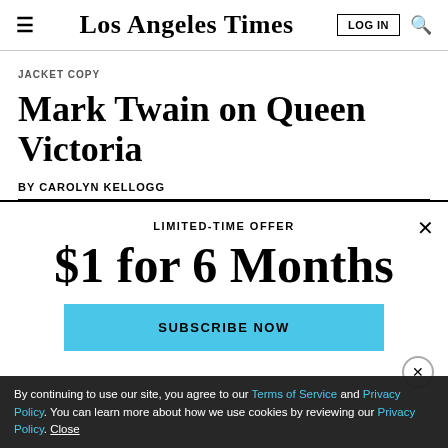Los Angeles Times
JACKET COPY
Mark Twain on Queen Victoria
BY CAROLYN KELLOGG
LIMITED-TIME OFFER
$1 for 6 Months
SUBSCRIBE NOW
By continuing to use our site, you agree to our Terms of Service and Privacy Policy. You can learn more about how we use cookies by reviewing our Privacy Policy. Close